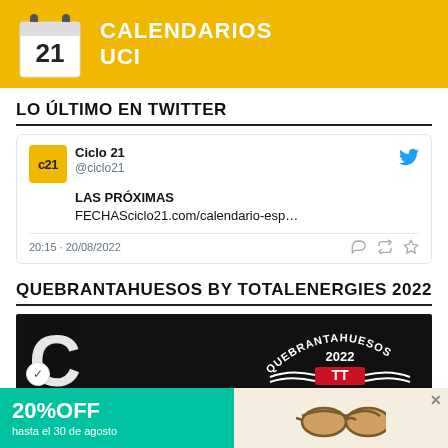[Figure (illustration): Yellow banner with number 21 calendar icon on the left and white bold text 'CALENDARIOS UCI' on the right]
LO ÚLTIMO EN TWITTER
[Figure (screenshot): Tweet card from Ciclo 21 (@ciclo21) with text 'LAS PRÓXIMAS FECHASciclo21.com/calendario-esp…' timestamped 20:15 · 20/08/2022]
QUEBRANTAHUESOS BY TOTALENERGIES 2022
[Figure (illustration): Dark background image with Quebrantahuesos 2022 logo and cycling event branding]
[Figure (illustration): Advertisement banner: '20%OFF hasta el 30 de agosto' on teal background with sunglasses image on right]